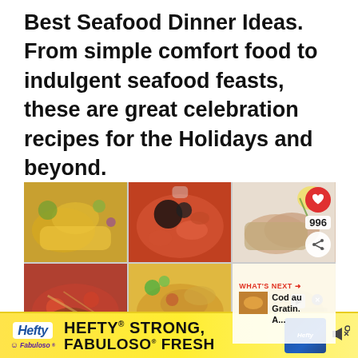Best Seafood Dinner Ideas. From simple comfort food to indulgent seafood feasts, these are great celebration recipes for the Holidays and beyond.
[Figure (photo): A 2x3 photo grid showing six seafood dinner images: fried seafood dish with salad, seafood stew with mussels and shrimp, rolled fish with lemon garnish, pasta with seafood, seafood pasta with mint garnish, and a 'What's Next' overlay showing Cod au Gratin. Heart button with 996 count and share button visible on top-right cell.]
[Figure (other): Advertisement banner for Hefty Strong, Fabuloso Fresh products]